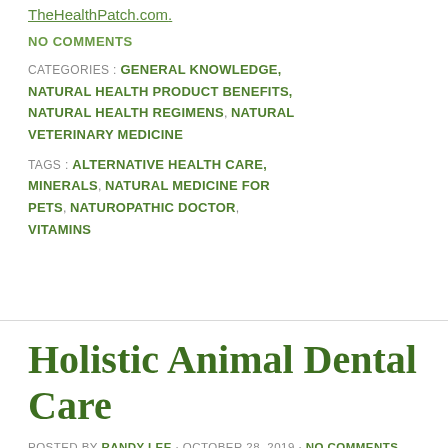TheHealthPatch.com.
NO COMMENTS
CATEGORIES : GENERAL KNOWLEDGE, NATURAL HEALTH PRODUCT BENEFITS, NATURAL HEALTH REGIMENS, NATURAL VETERINARY MEDICINE
TAGS : ALTERNATIVE HEALTH CARE, MINERALS, NATURAL MEDICINE FOR PETS, NATUROPATHIC DOCTOR, VITAMINS
Holistic Animal Dental Care
POSTED BY RANDY LEE · OCTOBER 28, 2019 · NO COMMENTS